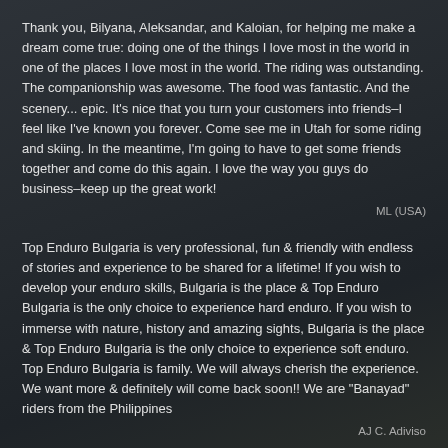Thank you, Bilyana, Aleksandar, and Kaloian, for helping me make a dream come true: doing one of the things I love most in the world in one of the places I love most in the world. The riding was outstanding. The companionship was awesome. The food was fantastic. And the scenery... epic. It's nice that you turn your customers into friends–I feel like I've known you forever. Come see me in Utah for some riding and skiing. In the meantime, I'm going to have to get some friends together and come do this again. I love the way you guys do business–keep up the great work!
ML (USA)
Top Enduro Bulgaria is very professional, fun & friendly with endless of stories and experience to be shared for a lifetime! If you wish to develop your enduro skills, Bulgaria is the place & Top Enduro Bulgaria is the only choice to experience hard enduro. If you wish to immerse with nature, history and amazing sights, Bulgaria is the place & Top Enduro Bulgaria is the only choice to experience soft enduro. Top Enduro Bulgaria is family. We will always cherish the experience. We want more & definitely will come back soon!! We are "Banayad" riders from the Philippines
AJ C. Adiviso